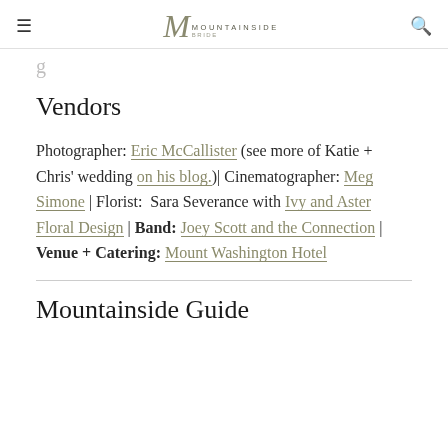Mountainside Bride - logo header with hamburger menu and search icon
[partial heading text cut off at top]
Vendors
Photographer: Eric McCallister (see more of Katie + Chris' wedding on his blog.)| Cinematographer: Meg Simone | Florist: Sara Severance with Ivy and Aster Floral Design | Band: Joey Scott and the Connection | Venue + Catering: Mount Washington Hotel
Mountainside Guide